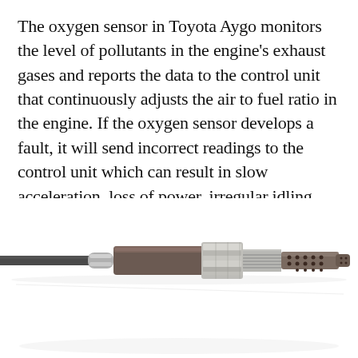The oxygen sensor in Toyota Aygo monitors the level of pollutants in the engine's exhaust gases and reports the data to the control unit that continuously adjusts the air to fuel ratio in the engine. If the oxygen sensor develops a fault, it will send incorrect readings to the control unit which can result in slow acceleration, loss of power, irregular idling, engine hesitation, or stalling.
[Figure (photo): Close-up photograph of an automotive oxygen sensor (lambda sensor) showing the metal hex nut body, threaded section, wiring cable on the left, and perforated protective shield tip on the right, all on a white background.]